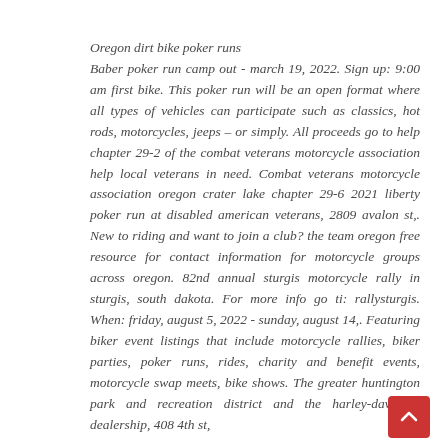Oregon dirt bike poker runs
Baber poker run camp out - march 19, 2022. Sign up: 9:00 am first bike. This poker run will be an open format where all types of vehicles can participate such as classics, hot rods, motorcycles, jeeps – or simply. All proceeds go to help chapter 29-2 of the combat veterans motorcycle association help local veterans in need. Combat veterans motorcycle association oregon crater lake chapter 29-6 2021 liberty poker run at disabled american veterans, 2809 avalon st,. New to riding and want to join a club? the team oregon free resource for contact information for motorcycle groups across oregon. 82nd annual sturgis motorcycle rally in sturgis, south dakota. For more info go ti: rallysturgis. When: friday, august 5, 2022 - sunday, august 14,. Featuring biker event listings that include motorcycle rallies, biker parties, poker runs, rides, charity and benefit events, motorcycle swap meets, bike shows. The greater huntington park and recreation district and the harley-davidson dealership, 408 4th st,